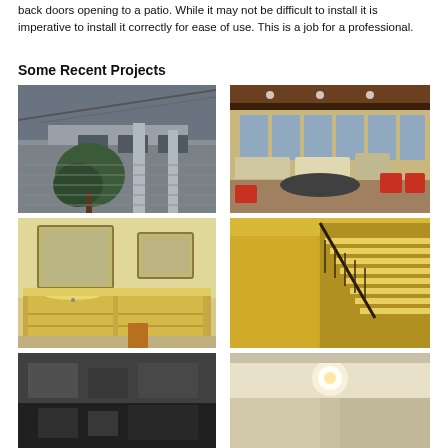back doors opening to a patio. While it may not be difficult to install it is imperative to install it correctly for ease of use. This is a job for a professional.
Some Recent Projects
[Figure (photo): Exterior of house with awnings/shades and tree in front]
[Figure (photo): Outdoor covered patio with furniture and dining area]
[Figure (photo): Bathroom vanity with decorative mirrored cabinet]
[Figure (photo): Interior staircase with yellow walls and red chairs]
[Figure (photo): Partial image bottom left - dark tones]
[Figure (photo): Partial image bottom right - light tones]